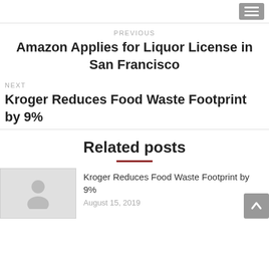PREVIOUS
Amazon Applies for Liquor License in San Francisco
NEXT
Kroger Reduces Food Waste Footprint by 9%
Related posts
Kroger Reduces Food Waste Footprint by 9%
August 15, 2019